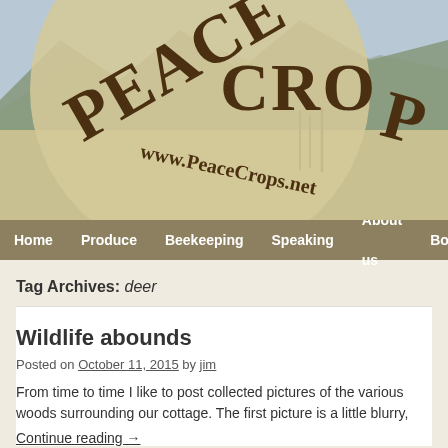[Figure (photo): Peace Crops website header banner showing a wooden sign with 'PEACE CROPS' and 'www.PeaceCrops.net' text, set against a mountain landscape background with grassfields and bare trees.]
Home  Produce  Beekeeping  Speaking  About us  Book
Tag Archives: deer
Wildlife abounds
Posted on October 11, 2015 by jim
From time to time I like to post collected pictures of the various woods surrounding our cottage. The first picture is a little blurry,
Continue reading →